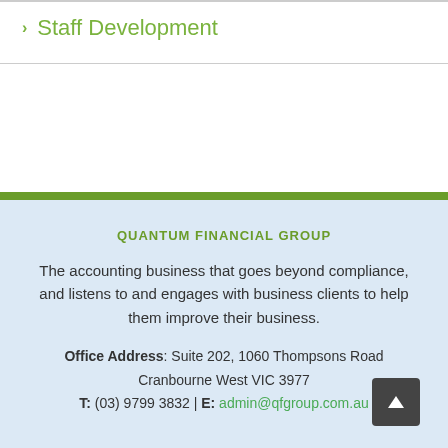> Staff Development
QUANTUM FINANCIAL GROUP

The accounting business that goes beyond compliance, and listens to and engages with business clients to help them improve their business.

Office Address: Suite 202, 1060 Thompsons Road Cranbourne West VIC 3977
T: (03) 9799 3832 | E: admin@qfgroup.com.au